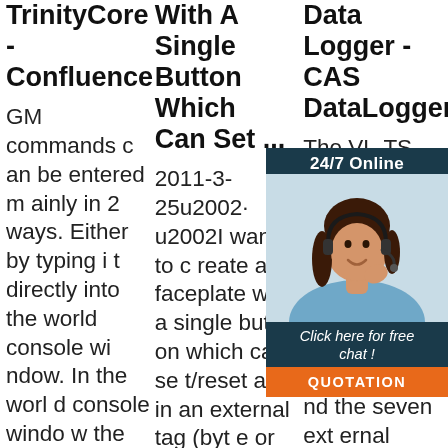TrinityCore - Confluence
GM commands can be entered mainly in 2 ways. Either by typing it directly into the world console window. In the world console window the leading dot (.) is not mandatory, but you can use it. The other way is using the gm command in game in the chat
With A Single Button Which Can Set ...
2011-3-25u2002·u2002I want to create a faceplate with a single button which can set/reset a bit in an external tag (byte or word) and the button background color should change based on a bit of a second external tag. T he idea is to use
Data Logger - CAS DataLoggers
The VL-TS Temperature Data Logger - CAS DataLoggers. Data is stored in non-volatile flash mem
[Figure (infographic): Chat support widget showing '24/7 Online' header, a woman with headset photo, 'Click here for free chat!' text, and orange QUOTATION button]